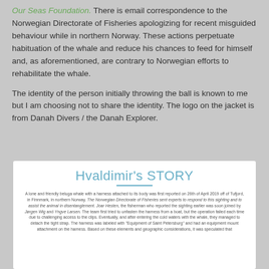Our Seas Foundation. There is email correspondence to the Norwegian Directorate of Fisheries apologizing for recent misguided behaviour while in northern Norway. These actions perpetuate habituation of the whale and reduce his chances to feed for himself and, as aforementioned, are contrary to Norwegian efforts to rehabilitate the whale.
The identity of the person initially throwing the ball is known to me but I am choosing not to share the identity. The logo on the jacket is from Danah Divers / the Danah Explorer.
Hvaldimir's STORY
A lone and friendly beluga whale with a harness attached to its body was first reported on 26th of April 2019 off of Tufjord, in Finnmark, in northern Norway. The Norwegian Directorate of Fisheries sent experts to respond to this sighting and to assist the animal in disentanglement. Joar Hesten, the fisherman who reported the sighting earlier was soon joined by Jørgen Wig and Yngve Larsen. The team first tried to unfasten the harness from a boat, but the operation failed each time due to challenging access to the clips. Eventually, and after entering the cold waters with the whale, they managed to detach the tight strap. The harness was labeled with "Equipment of Saint Petersburg" and had an equipment mount attachment on the harness. Based on these elements and geographic considerations, it was speculated that...